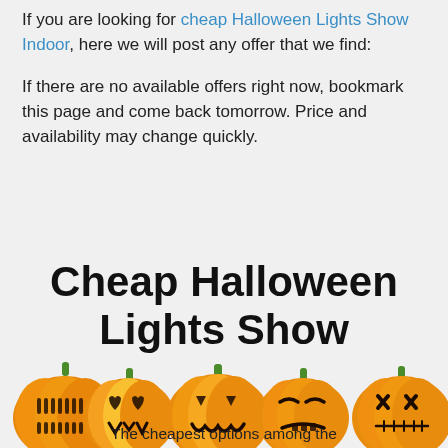If you are looking for cheap Halloween Lights Show Indoor, here we will post any offer that we find:
If there are no available offers right now, bookmark this page and come back tomorrow. Price and availability may change quickly.
Cheap Halloween Lights Show
[Figure (illustration): Row of five jack-o-lantern pumpkins with glowing carved faces, each with a green stem, in orange and yellow tones against a light grey background.]
The cheapest options among the